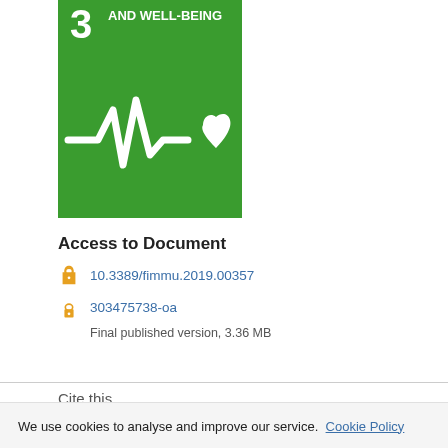[Figure (logo): UN SDG Goal 3 - Good Health and Well-Being icon: green square with white ECG/heartbeat line and heart symbol, number 3 and text AND WELL-BEING visible at top]
Access to Document
10.3389/fimmu.2019.00357
303475738-oa
Final published version, 3.36 MB
Cite this
We use cookies to analyse and improve our service. Cookie Policy